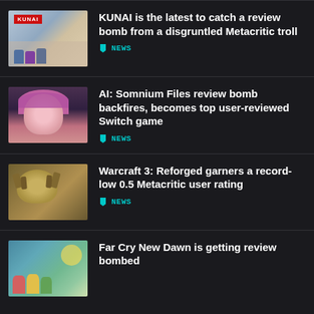KUNAI is the latest to catch a review bomb from a disgruntled Metacritic troll — NEWS
AI: Somnium Files review bomb backfires, becomes top user-reviewed Switch game — NEWS
Warcraft 3: Reforged garners a record-low 0.5 Metacritic user rating — NEWS
Far Cry New Dawn is getting review bombed